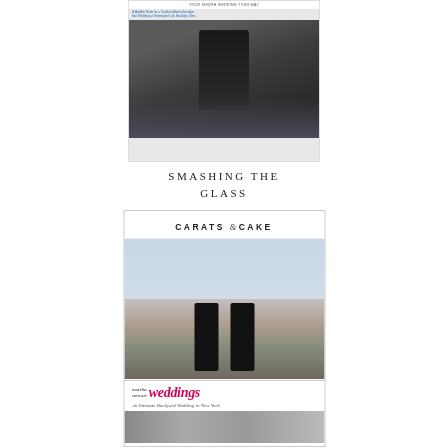[Figure (screenshot): Screenshot of Smashing the Glass website showing a wedding celebration photo with men in tuxedos being lifted by crowd]
SMASHING THE GLASS
[Figure (screenshot): Screenshot of Carats & Cake website showing two grooms in tuxedos walking on a pier with NYC skyline in background]
CARATS & CAKE
[Figure (screenshot): Screenshot of Martha Stewart Weddings website with header logo and subtitle 'An Intimate Backyard Wedding in New York']